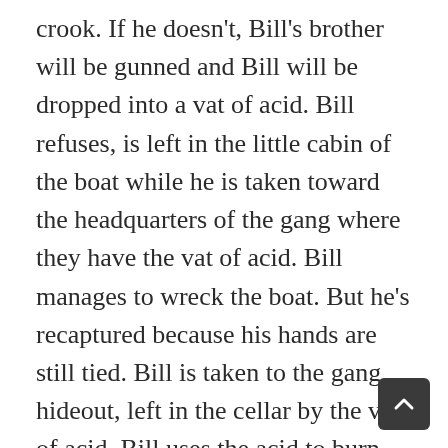crook. If he doesn't, Bill's brother will be gunned and Bill will be dropped into a vat of acid. Bill refuses, is left in the little cabin of the boat while he is taken toward the headquarters of the gang where they have the vat of acid. Bill manages to wreck the boat. But he's recaptured because his hands are still tied. Bill is taken to the gang hideout, left in the cellar by the vat of acid. Bill uses the acid to burn the ropes from his wrists, puts a penny back of the fuse for the electric light in the basement fuse box.
Taken upstairs, while still pretending to be tied, Bill agrees to send a message to his brother, dictated on a victrola record which contains the